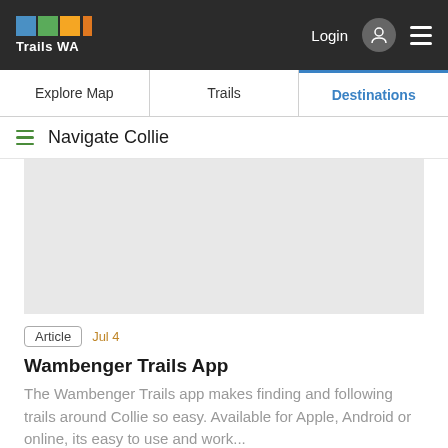[Figure (logo): Trails WA logo with coloured squares (blue, green, orange) and white text 'Trails WA' on dark background header]
Login  [user icon]  [hamburger menu]
Explore Map | Trails | Destinations
Navigate Collie
[Figure (map): Light grey map placeholder area]
Article   Jul 4
Wambenger Trails App
The Wambenger Trails app makes finding and following trails around Collie so easy. Available for Apple, Android or online, its easy to use and work...